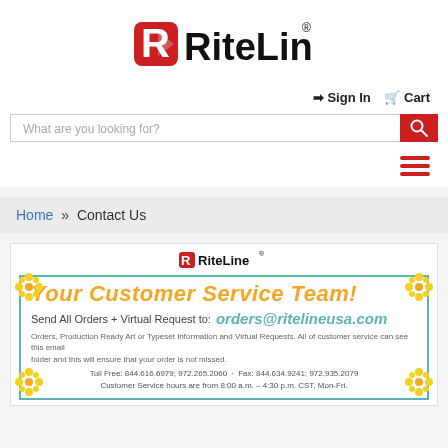[Figure (logo): RiteLine logo with red arrow/shield icon and 'RiteLine' wordmark with registered trademark symbol]
➡ Sign In  🛒 Cart
What are you looking for?
≡ (hamburger menu icon)
Home » Contact Us
[Figure (infographic): RiteLine Customer Service banner with decorative floral border, orange italic 'Your Customer Service Team!' heading, email address orders@ritelineusa.com, description text about sending orders and virtual requests, and toll-free phone/fax numbers and customer service hours.]